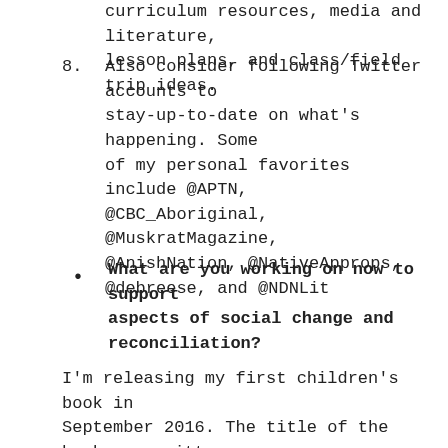curriculum resources, media and literature, lesson plans, and class/field trip ideas.
8. Also consider following Twitter accounts to stay-up-to-date on what's happening. Some of my personal favorites include @APTN, @CBC_Aboriginal, @MuskratMagazine, @AnishNation, @NativeApprops, @debreese, and @NDNLit
What are you working on now to support aspects of social change and reconciliation?
I'm releasing my first children's book in September 2016. The title of the book, co-written with Kathy Kacer, is I Am Not a Number. It is the story of my granny, who was taken from